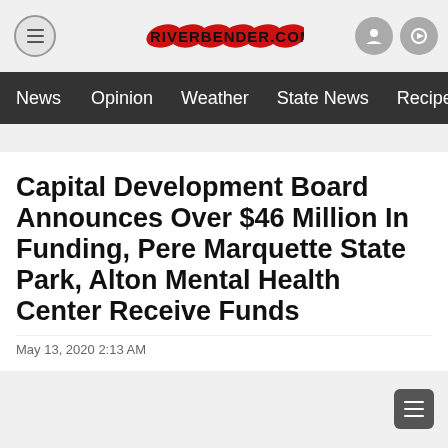RIVERBENDER.COM
News  Opinion  Weather  State News  Recipes
Capital Development Board Announces Over $46 Million In Funding, Pere Marquette State Park, Alton Mental Health Center Receive Funds